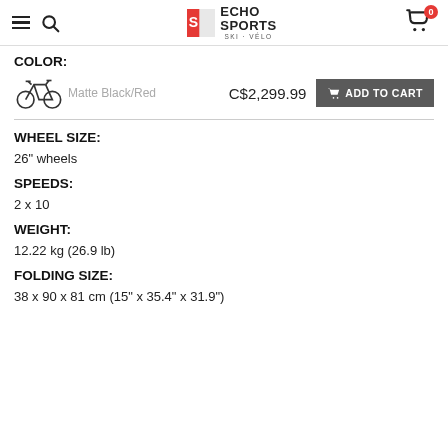Echo Sports Ski Vélo — navigation header with logo and cart
COLOR:
Matte Black/Red — C$2,299.99 — ADD TO CART
WHEEL SIZE:
26" wheels
SPEEDS:
2 x 10
WEIGHT:
12.22 kg (26.9 lb)
FOLDING SIZE:
38 x 90 x 81 cm (15" x 35.4" x 31.9")